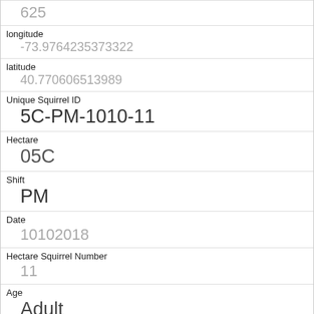| Field | Value |
| --- | --- |
|  | 625 |
| longitude | -73.9764235373322 |
| latitude | 40.770606513989 |
| Unique Squirrel ID | 5C-PM-1010-11 |
| Hectare | 05C |
| Shift | PM |
| Date | 10102018 |
| Hectare Squirrel Number | 11 |
| Age | Adult |
| Primary Fur Color | Cinnamon |
| Highlight Fur Color | Gray |